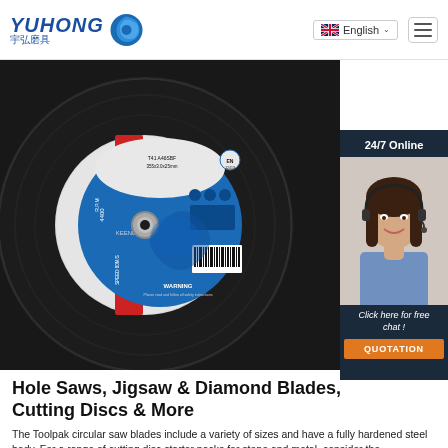YUHONG 宇弘磨具 | English | [menu]
[Figure (photo): A large black abrasive cutting disc with a blue and red label in the center showing YUHONG branding, RPM and speed specs, with a barcode visible. The disc fills most of the frame on a dark background.]
[Figure (photo): 24/7 Online chat panel showing a female customer service agent wearing a headset, with text 'Click here for free chat!' and an orange QUOTATION button.]
Hole Saws, Jigsaw & Diamond Blades, Cutting Discs & More
The Toolpak circular saw blades include a variety of sizes and have a fully hardened steel body. For a range of cutting disc starter packs for stone and metal, consider the